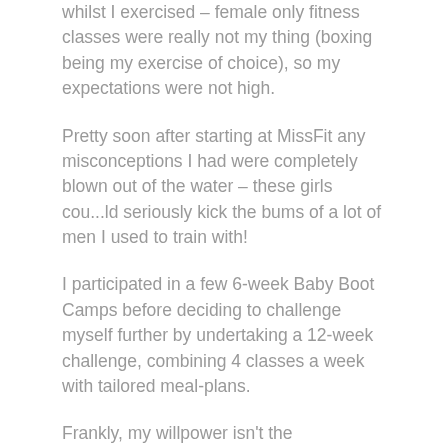whilst I exercised – female only fitness classes were really not my thing (boxing being my exercise of choice), so my expectations were not high.
Pretty soon after starting at MissFit any misconceptions I had were completely blown out of the water – these girls cou...ld seriously kick the bums of a lot of men I used to train with!
I participated in a few 6-week Baby Boot Camps before deciding to challenge myself further by undertaking a 12-week challenge, combining 4 classes a week with tailored meal-plans.
Frankly, my willpower isn't the